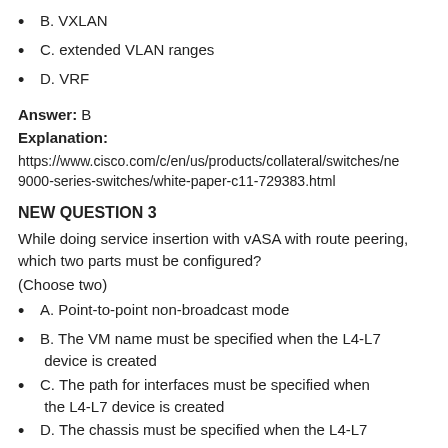B. VXLAN
C. extended VLAN ranges
D. VRF
Answer: B
Explanation:
https://www.cisco.com/c/en/us/products/collateral/switches/ne 9000-series-switches/white-paper-c11-729383.html
NEW QUESTION 3
While doing service insertion with vASA with route peering, which two parts must be configured?
(Choose two)
A. Point-to-point non-broadcast mode
B. The VM name must be specified when the L4-L7 device is created
C. The path for interfaces must be specified when the L4-L7 device is created
D. The chassis must be specified when the L4-L7